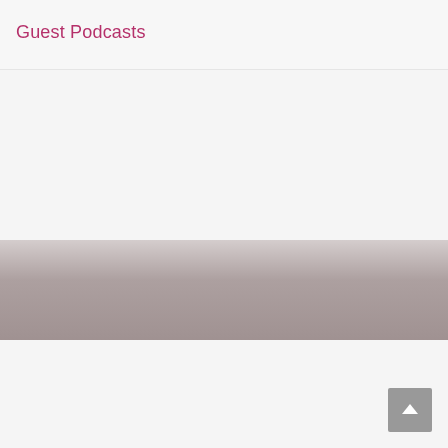Guest Podcasts
[Figure (other): Light grey/white middle area, likely a content image placeholder or scrolled-away content area]
EBM, INDUSTRIAL, REVIEWS
V Anniversary Fill-Lex Records
[Figure (other): Scroll-to-top button with upward arrow, grey square button in bottom-right corner]